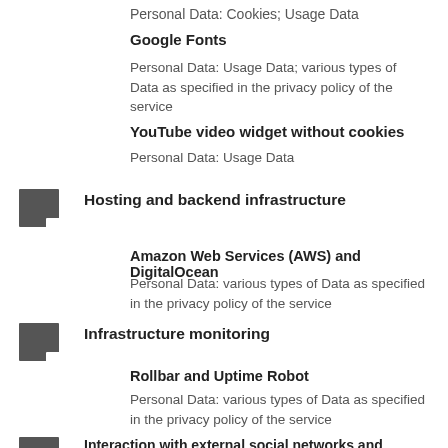Personal Data: Cookies; Usage Data
Google Fonts
Personal Data: Usage Data; various types of Data as specified in the privacy policy of the service
YouTube video widget without cookies
Personal Data: Usage Data
Hosting and backend infrastructure
Amazon Web Services (AWS) and DigitalOcean
Personal Data: various types of Data as specified in the privacy policy of the service
Infrastructure monitoring
Rollbar and Uptime Robot
Personal Data: various types of Data as specified in the privacy policy of the service
Interaction with external social networks and platforms
AddThis, Facebook Like button and social widgets, Twitter Tweet button and social widgets, Pinterest “Pin it” button and social widgets, Google+ “+1” button and social widgets